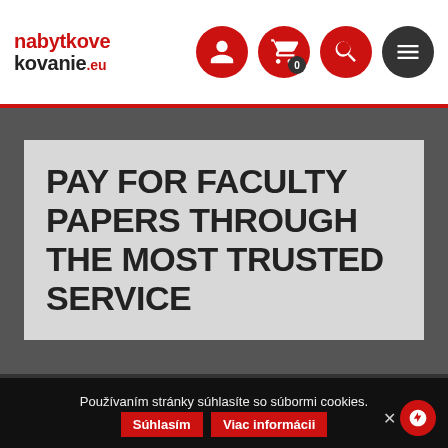[Figure (logo): nabytkovekovanie.eu logo in red and black text]
[Figure (screenshot): Navigation icons: user (red circle), cart with badge 0 (red circle), search (red circle), menu (dark circle)]
PAY FOR FACULTY PAPERS THROUGH THE MOST TRUSTED SERVICE
Používaním stránky súhlasíte so súbormi cookies.
Súhlasím  Viac informácii